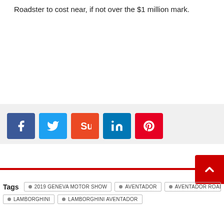Roadster to cost near, if not over the $1 million mark.
[Figure (other): Social sharing buttons: Facebook (blue), Twitter (light blue), StumbleUpon (orange-red), LinkedIn (blue), Pinterest (red)]
2019 GENEVA MOTOR SHOW
AVENTADOR
AVENTADOR ROADSTER
LAMBORGHINI
LAMBORGHINI AVENTADOR